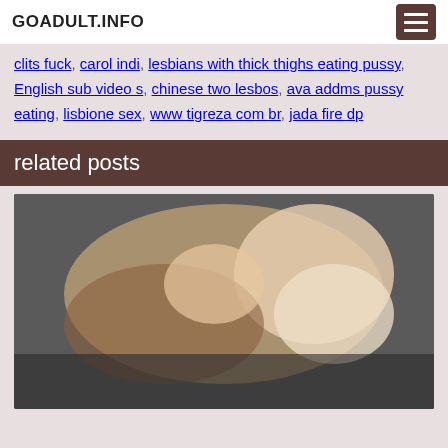GOADULT.INFO
clits fuck, carol indi, lesbians with thick thighs eating pussy, English sub video s, chinese two lesbos, ava addms pussy eating, lisbione sex, www tigreza com br, jada fire dp
related posts
[Figure (photo): Adult content photo thumbnail]